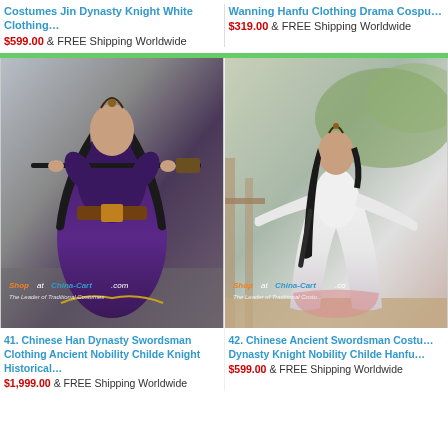Costumes Jin Dynasty Knight White Clothing…
$599.00 & FREE Shipping Worldwide
Wanning Hanfu Clothing Drama Cospu…
$319.00 & FREE Shipping Worldwide
[Figure (photo): Man in dark purple Chinese Han Dynasty swordsman costume holding a sword horizontally, watermark Shop at China-Cart.com]
[Figure (photo): Woman in white flowing Chinese Ancient swordsman hanfu costume on outdoor walkway, watermark Shop at China-Cart.com]
41. Chinese Han Dynasty Swordsman Clothing Ancient Nobility Childe Knight Historical…
$1,999.00 & FREE Shipping Worldwide
42. Chinese Ancient Swordsman Costu… Dynasty Knight Nobility Childe Hanfu…
$599.00 & FREE Shipping Worldwide